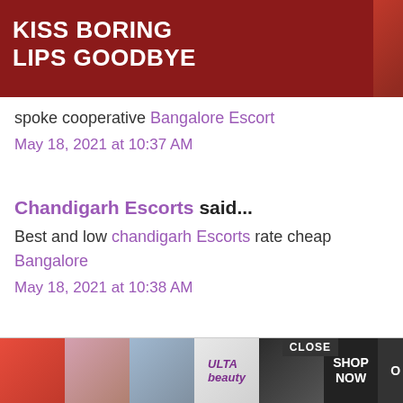[Figure (screenshot): Top banner advertisement for Macy's cosmetics: dark red background with text 'KISS BORING LIPS GOODBYE', 'SHOP NOW' button, Macy's star logo, and partial text 'g Abu Dh' on right side]
spoke cooperative Bangalore Escort
May 18, 2021 at 10:37 AM
Chandigarh Escorts said...
Best and low chandigarh Escorts rate cheap Bangalore
May 18, 2021 at 10:38 AM
Bangalore Escorts said...
Bangalore Escorts
Bangalore Escort
Bangalore Escorts Service
Bangalore Escort Service
[Figure (screenshot): Bottom advertisement banner with beauty/cosmetic images, Ulta Beauty logo, SHOP NOW button, CLOSE button, and O TOP navigation button]